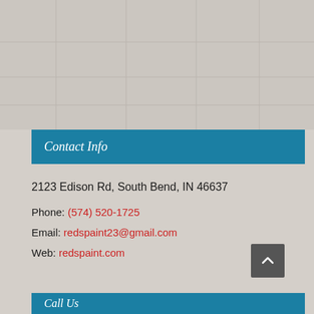[Figure (map): Gray map area placeholder showing a street map background]
Contact Info
2123 Edison Rd, South Bend, IN 46637
Phone: (574) 520-1725
Email: redspaint23@gmail.com
Web: redspaint.com
Call Us